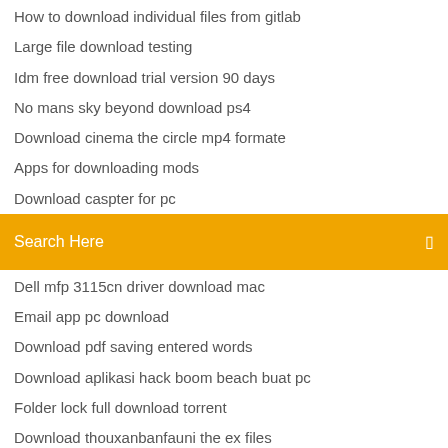How to download individual files from gitlab
Large file download testing
Idm free download trial version 90 days
No mans sky beyond download ps4
Download cinema the circle mp4 formate
Apps for downloading mods
Download caspter for pc
[Figure (screenshot): Orange search bar with white text 'Search Here' and a small icon on the right]
Dell mfp 3115cn driver download mac
Email app pc download
Download pdf saving entered words
Download aplikasi hack boom beach buat pc
Folder lock full download torrent
Download thouxanbanfauni the ex files
How to download google voice for pc
Youtube mp4 downloader extension
2268 pram usb device driver download
Download 1986 nba ecsf celtics hawks torrent